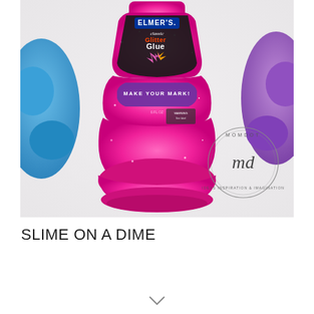[Figure (photo): A close-up photo of an Elmer's Classic Glitter Glue bottle in bright pink glitter. The bottle label reads 'ELMER'S classic Glitter Glue' with colorful graphic designs and 'MAKE YOUR MARK!' text on a purple band. A MOMDOT watermark logo (md, Ideas Inspiration & Imagination) is visible in the lower right of the image. Background shows blurred blue and purple slime shapes.]
SLIME ON A DIME